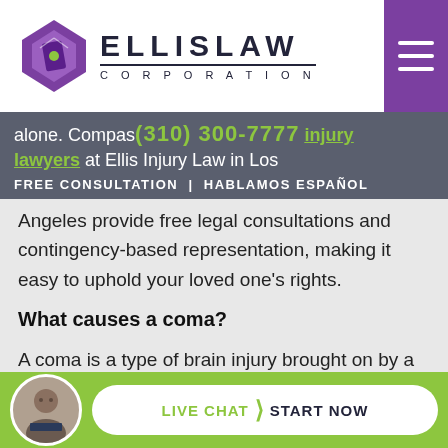[Figure (logo): Ellis Law Corporation logo with purple diamond/shield icon and bold text ELLISLAW with CORPORATION below]
alone. Compassionate (310) 300-7777 injury lawyers at Ellis Injury Law in Los Angeles provide free legal consultations and contingency-based representation, making it easy to uphold your loved one's rights.
FREE CONSULTATION | HABLAMOS ESPAÑOL
What causes a coma?
A coma is a type of brain injury brought on by a number of physical conditions, such as:
[Figure (infographic): Live chat bar with attorney photo avatar, LIVE CHAT > START NOW button on green background]